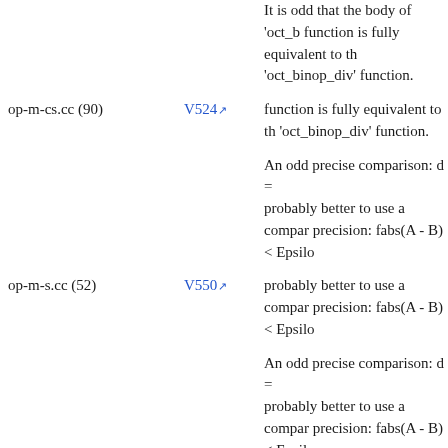op-m-cs.cc (90) | V524 | It is odd that the body of 'oct_b... function is fully equivalent to the 'oct_binop_div' function.
op-m-s.cc (52) | V550 | An odd precise comparison: d = ... probably better to use a comparison with defined precision: fabs(A - B) < Epsilon
op-m-s.cc (91) | V550 | An odd precise comparison: d = ... probably better to use a comparison with defined precision: fabs(A - B) < Epsilon
op-m-s.cc (82) | V524 | It is odd that the body of 'oct_b... function is fully equivalent to the 'oct_binop_mul' function.
op-m-s.cc (84) | V524 | It is odd that the body of 'oct_b... function is fully equivalent to the 'oct_binop_div' function.
op-m-scm.cc (60) | V550 | An odd precise comparison: d = ... probably better to use a comparison with defined precision: fabs(A - B) < Epsilon
op-m-sm.cc (58) | V550 | An odd precise comparison: d = ... probably better to use a comparison with defined precision: fabs(A - B) < Epsilon
op-pm-sm.cc (93) | V525 | The code contains the collection of... blocks. Check items 'op_mul', '...' 'op_mul', 'op_div' in lines 93, 9...
An odd precise comparison: d = ...